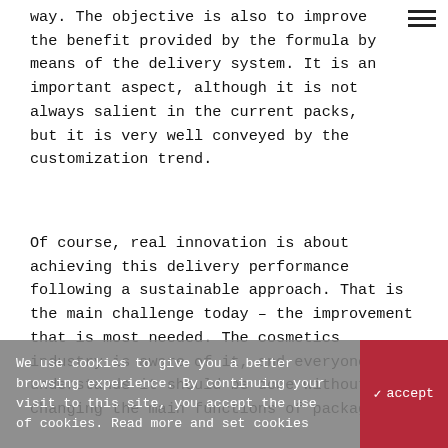way. The objective is also to improve the benefit provided by the formula by means of the delivery system. It is an important aspect, although it is not always salient in the current packs, but it is very well conveyed by the customization trend.
Of course, real innovation is about achieving this delivery performance following a sustainable approach. That is the main challenge today – the improvement that is most needed. The cosmetics industry is aware of it, and everyone understands it should be done without changing the main functions of packaging.
There has been a significant acceleration in this field in the cosmetics industry, as can be seen with the recent product launches and manufacturers offering increasingly based on
We use cookies to give you a better browsing experience. By continuing your visit to this site, you accept the use of cookies. Read more and set cookies